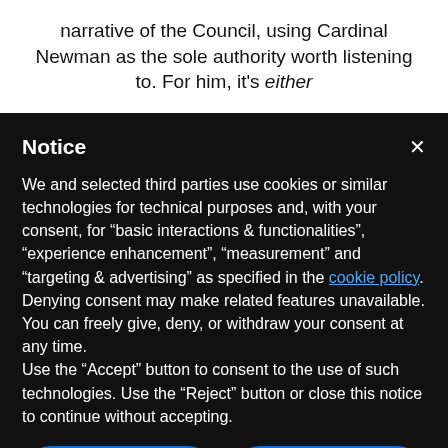narrative of the Council, using Cardinal Newman as the sole authority worth listening to. For him, it's either
Notice
We and selected third parties use cookies or similar technologies for technical purposes and, with your consent, for “basic interactions & functionalities”, “experience enhancement”, “measurement” and “targeting & advertising” as specified in the cookie policy. Denying consent may make related features unavailable.
You can freely give, deny, or withdraw your consent at any time.
Use the “Accept” button to consent to the use of such technologies. Use the “Reject” button or close this notice to continue without accepting.
Reject
Accept
Learn more and customize